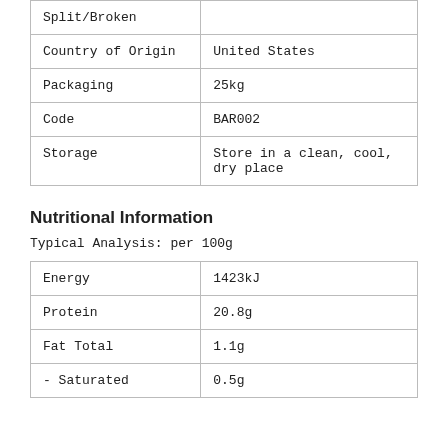| Split/Broken |  |
| Country of Origin | United States |
| Packaging | 25kg |
| Code | BAR002 |
| Storage | Store in a clean, cool, dry place |
Nutritional Information
Typical Analysis: per 100g
| Energy | 1423kJ |
| Protein | 20.8g |
| Fat Total | 1.1g |
| - Saturated | 0.5g |